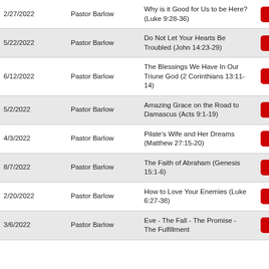| Date | Pastor | Title |  |
| --- | --- | --- | --- |
| 2/27/2022 | Pastor Barlow | Why is it Good for Us to be Here? (Luke 9:28-36) | ▶ |
| 5/22/2022 | Pastor Barlow | Do Not Let Your Hearts Be Troubled (John 14:23-29) | ▶ |
| 6/12/2022 | Pastor Barlow | The Blessings We Have In Our Triune God (2 Corinthians 13:11-14) | ▶ |
| 5/2/2022 | Pastor Barlow | Amazing Grace on the Road to Damascus (Acts 9:1-19) | ▶ |
| 4/3/2022 | Pastor Barlow | Pilate's Wife and Her Dreams (Matthew 27:15-20) | ▶ |
| 8/7/2022 | Pastor Barlow | The Faith of Abraham (Genesis 15:1-6) | ▶ |
| 2/20/2022 | Pastor Barlow | How to Love Your Enemies (Luke 6:27-38) | ▶ |
| 3/6/2022 | Pastor Barlow | Eve - The Fall - The Promise - The Fulfillment (Daniel 3:17) | ▶ |